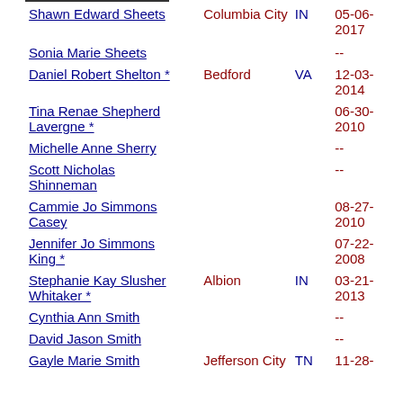| Name | City | State | Date |
| --- | --- | --- | --- |
| Shawn Edward Sheets | Columbia City | IN | 05-06-2017 |
| Sonia Marie Sheets |  |  | -- |
| Daniel Robert Shelton * | Bedford | VA | 12-03-2014 |
| Tina Renae Shepherd Lavergne * |  |  | 06-30-2010 |
| Michelle Anne Sherry |  |  | -- |
| Scott Nicholas Shinneman |  |  | -- |
| Cammie Jo Simmons Casey |  |  | 08-27-2010 |
| Jennifer Jo Simmons King * |  |  | 07-22-2008 |
| Stephanie Kay Slusher Whitaker * | Albion | IN | 03-21-2013 |
| Cynthia Ann Smith |  |  | -- |
| David Jason Smith |  |  | -- |
| Gayle Marie Smith | Jefferson City | TN | 11-28- |